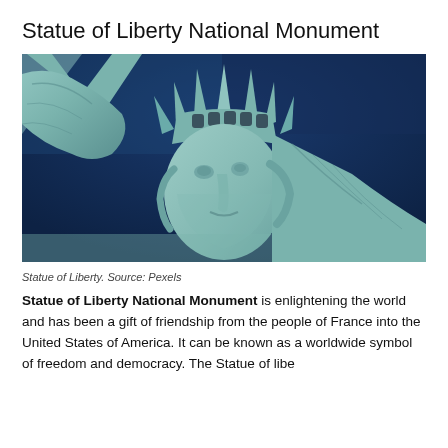Statue of Liberty National Monument
[Figure (photo): Close-up photograph of the Statue of Liberty's face and crown against a deep blue sky, with the raised torch arm visible on the left side.]
Statue of Liberty. Source: Pexels
Statue of Liberty National Monument is enlightening the world and has been a gift of friendship from the people of France into the United States of America. It can be known as a worldwide symbol of freedom and democracy. The Statue of liberty...